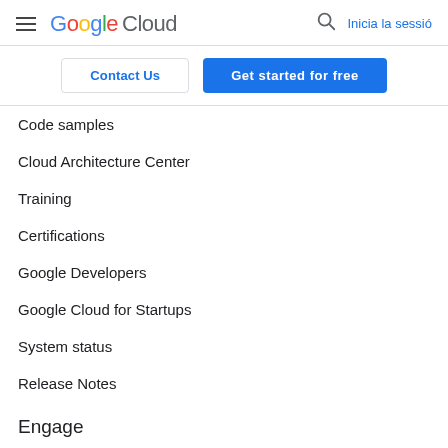Google Cloud — Inicia la sessió
Contact Us
Get started for free
Code samples
Cloud Architecture Center
Training
Certifications
Google Developers
Google Cloud for Startups
System status
Release Notes
Engage
Contact sales